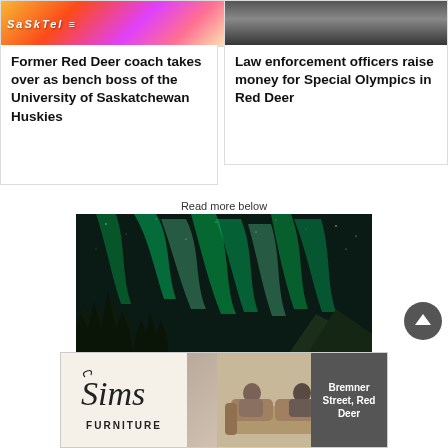[Figure (photo): Colorful sports/event banner image for Red Deer coach article]
Former Red Deer coach takes over as bench boss of the University of Saskatchewan Huskies
[Figure (photo): Photo of people at a Special Olympics event in Red Deer]
Law enforcement officers raise money for Special Olympics in Red Deer
Read more below
[Figure (photo): Northern lights (aurora borealis) over a forest and mountain landscape at night]
[Figure (other): Sims Furniture advertisement banner - Bremner Street, Red Deer]